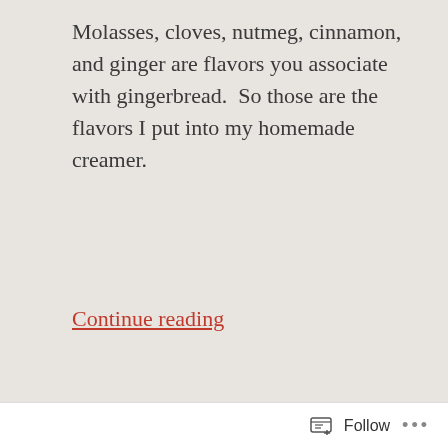Molasses, cloves, nutmeg, cinnamon, and ginger are flavors you associate with gingerbread.  So those are the flavors I put into my homemade creamer.
Continue reading
Sharing is Caring
[Figure (screenshot): Row of social sharing buttons: Print, Tweet (blue), Email, Save (red with Pinterest logo, count: 3), Print & PDF, Yummly]
[Figure (screenshot): Like button with star icon, followed by three user avatar emoji/image thumbnails]
[Figure (screenshot): White footer bar with Follow button (reader icon) and ellipsis menu (...)]